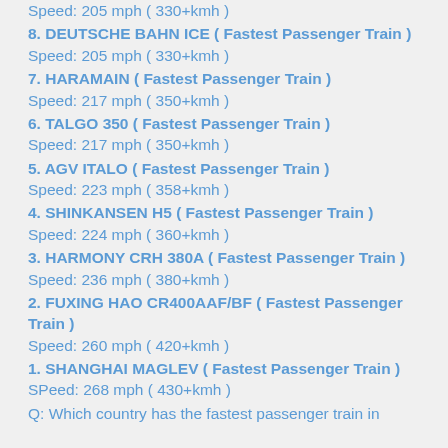Speed: 205 mph ( 330+kmh )
8. DEUTSCHE BAHN ICE ( Fastest Passenger Train )
Speed: 205 mph ( 330+kmh )
7. HARAMAIN ( Fastest Passenger Train )
Speed: 217 mph ( 350+kmh )
6. TALGO 350 ( Fastest Passenger Train )
Speed: 217 mph ( 350+kmh )
5. AGV ITALO ( Fastest Passenger Train )
Speed: 223 mph ( 358+kmh )
4. SHINKANSEN H5 ( Fastest Passenger Train )
Speed: 224 mph ( 360+kmh )
3. HARMONY CRH 380A ( Fastest Passenger Train )
Speed: 236 mph ( 380+kmh )
2. FUXING HAO CR400AAF/BF ( Fastest Passenger Train )
Speed: 260 mph ( 420+kmh )
1. SHANGHAI MAGLEV ( Fastest Passenger Train )
SPeed: 268 mph ( 430+kmh )
Q: Which country has the fastest passenger train in